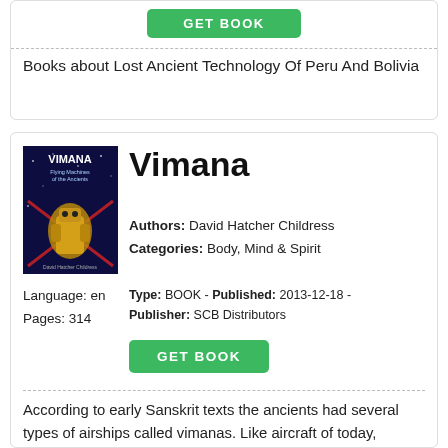Books about Lost Ancient Technology Of Peru And Bolivia
Vimana
Authors: David Hatcher Childress
Categories: Body, Mind & Spirit
Language: en
Pages: 314
Type: BOOK - Published: 2013-12-18 - Publisher: SCB Distributors
According to early Sanskrit texts the ancients had several types of airships called vimanas. Like aircraft of today, vimanas were used to fly through the air from city to city; to conduct aerial surveys of uncharted lands; and as delivery vehicles for awesome weapons. David Hatcher